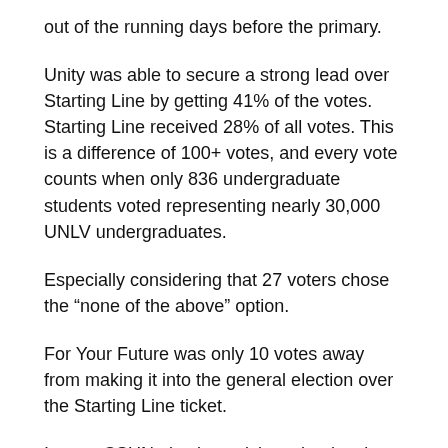out of the running days before the primary.
Unity was able to secure a strong lead over Starting Line by getting 41% of the votes. Starting Line received 28% of all votes. This is a difference of 100+ votes, and every vote counts when only 836 undergraduate students voted representing nearly 30,000 UNLV undergraduates.
Especially considering that 27 voters chose the “none of the above” option.
For Your Future was only 10 votes away from making it into the general election over the Starting Line ticket.
In past CSUN elections, tickets that lost in the primary election will usually endorse another ticket to inform their voters who they will likely be voting for. For the last election,